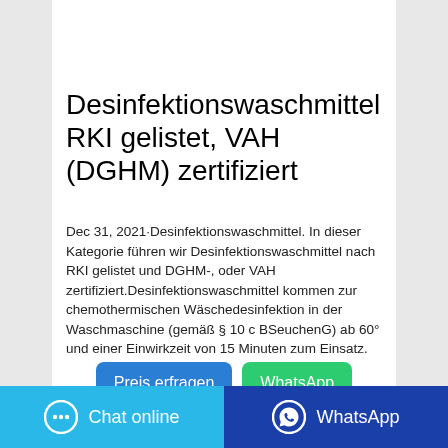[Figure (photo): Product photo of a green/yellow laundry detergent package (lemon-scented) on a gray background]
Desinfektionswaschmittel RKI gelistet, VAH (DGHM) zertifiziert
Dec 31, 2021·Desinfektionswaschmittel. In dieser Kategorie führen wir Desinfektionswaschmittel nach RKI gelistet und DGHM-, oder VAH zertifiziert.Desinfektionswaschmittel kommen zur chemothermischen Wäschedesinfektion in der Waschmaschine (gemäß § 10 c BSeuchenG) ab 60° und einer Einwirkzeit von 15 Minuten zum Einsatz.
Preis erfragen
WhatsApp
Chat online
WhatsApp